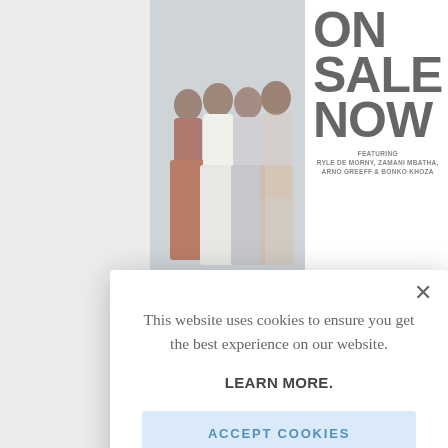[Figure (screenshot): GQ magazine cover advertisement showing 'ON SALE NOW' text with four men on the cover, featuring RYLE DE MORNY, ZAMANI MBATHA, ARNO GREEFF & BONKO KHOZA. Text 'SUPERNOVAS' visible at bottom of cover.]
“At t also has the d
This website uses cookies to ensure you get the best experience on our website.
LEARN MORE.
ACCEPT COOKIES